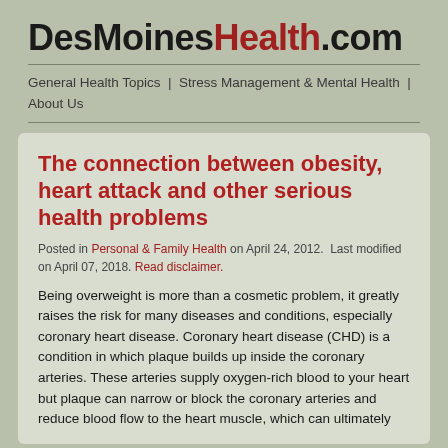DesMoinesHealth.com
General Health Topics | Stress Management & Mental Health | About Us
The connection between obesity, heart attack and other serious health problems
Posted in Personal & Family Health on April 24, 2012. Last modified on April 07, 2018. Read disclaimer.
Being overweight is more than a cosmetic problem, it greatly raises the risk for many diseases and conditions, especially coronary heart disease. Coronary heart disease (CHD) is a condition in which plaque builds up inside the coronary arteries. These arteries supply oxygen-rich blood to your heart but plaque can narrow or block the coronary arteries and reduce blood flow to the heart muscle, which can ultimately